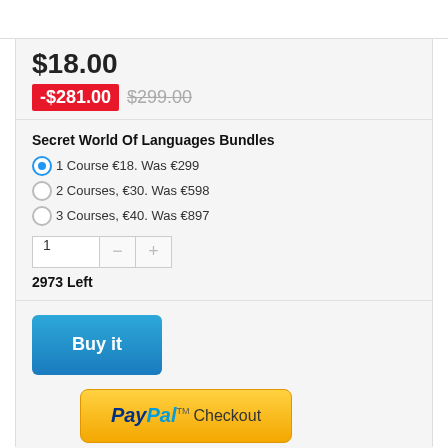$18.00
-$281.00  $299.00
Secret World Of Languages Bundles
1 Course €18. Was €299
2 Courses, €30. Was €598
3 Courses, €40. Was €897
2973 Left
Buy it
[Figure (other): PayPal Checkout button]